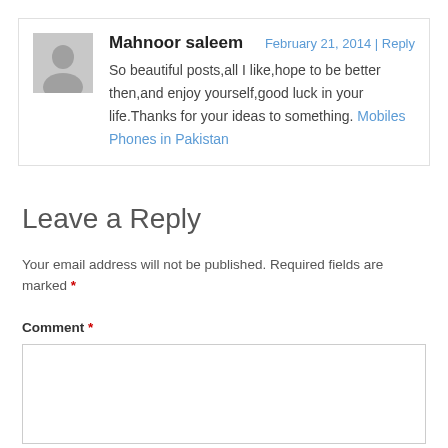Mahnoor saleem — February 21, 2014 | Reply
So beautiful posts,all I like,hope to be better then,and enjoy yourself,good luck in your life.Thanks for your ideas to something. Mobiles Phones in Pakistan
Leave a Reply
Your email address will not be published. Required fields are marked *
Comment *